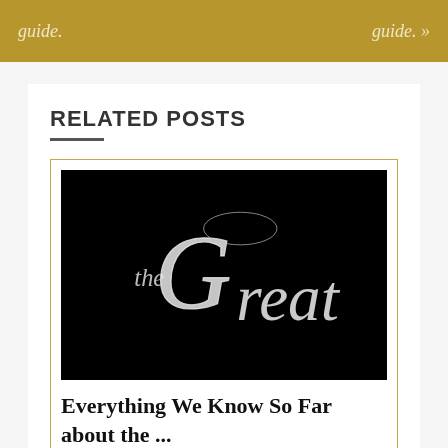guide.    guide. »
RELATED POSTS
[Figure (photo): Black background with decorative script text reading 'the Great' in white calligraphic lettering]
Everything We Know So Far about the ...